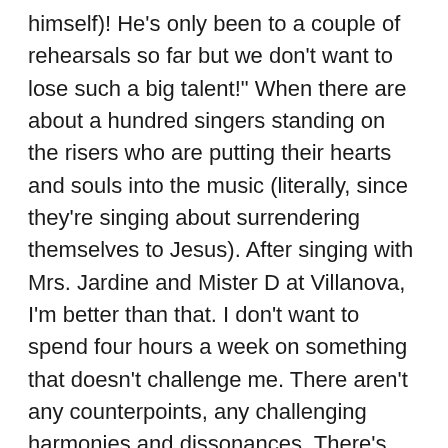himself)! He's only been to a couple of rehearsals so far but we don't want to lose such a big talent!" When there are about a hundred singers standing on the risers who are putting their hearts and souls into the music (literally, since they're singing about surrendering themselves to Jesus). After singing with Mrs. Jardine and Mister D at Villanova, I'm better than that. I don't want to spend four hours a week on something that doesn't challenge me. There aren't any counterpoints, any challenging harmonies and dissonances. There's just sopranos, altos, and tenors (I'll get to them later) who are just singing the same melody in different octaves. For what it is, it's a decent chorus. But that's all they are. A bunch of Christian backup singers.
Before they started, the chorus members went out into the audience and “got to know them” … the guy who chose to